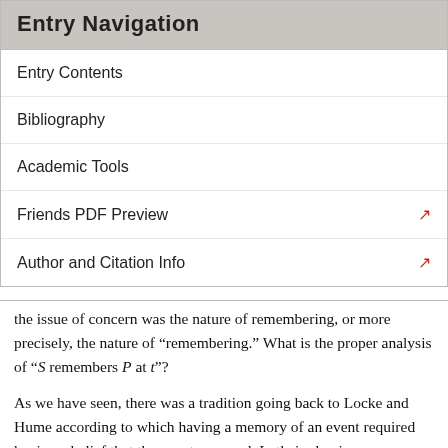Entry Navigation
Entry Contents
Bibliography
Academic Tools
Friends PDF Preview
Author and Citation Info
the issue of concern was the nature of remembering, or more precisely, the nature of “remembering.” What is the proper analysis of “S remembers P at t”?
As we have seen, there was a tradition going back to Locke and Hume according to which having a memory of an event required having a belief that the event occurred. In their classic essay “Remembering,” C.B. Martin and Max Deustscher read Locke (and others) as claiming that the belief condition is necessary for S’s remembering. In defense of Locke, it can be argued that he was interested